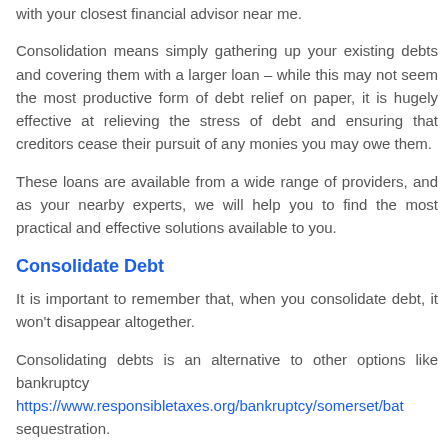with your closest financial advisor near me.
Consolidation means simply gathering up your existing debts and covering them with a larger loan – while this may not seem the most productive form of debt relief on paper, it is hugely effective at relieving the stress of debt and ensuring that creditors cease their pursuit of any monies you may owe them.
These loans are available from a wide range of providers, and as your nearby experts, we will help you to find the most practical and effective solutions available to you.
Consolidate Debt
It is important to remember that, when you consolidate debt, it won't disappear altogether.
Consolidating debts is an alternative to other options like bankruptcy https://www.responsibletaxes.org/bankruptcy/somerset/bat sequestration.
This measure of financial relief is available to those who simply need assistance in arranging for outstanding amounts to be cleared